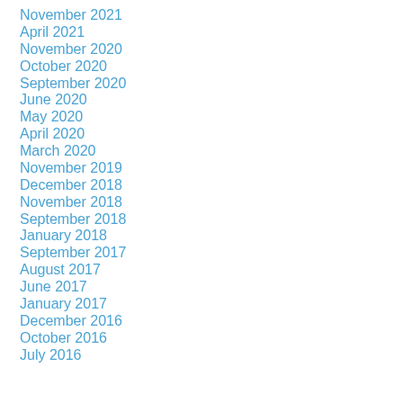November 2021
April 2021
November 2020
October 2020
September 2020
June 2020
May 2020
April 2020
March 2020
November 2019
December 2018
November 2018
September 2018
January 2018
September 2017
August 2017
June 2017
January 2017
December 2016
October 2016
July 2016